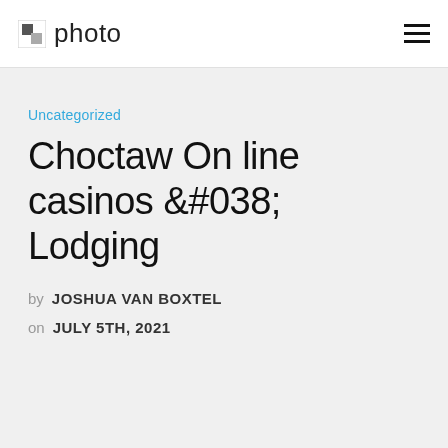photo
Uncategorized
Choctaw On line casinos &#038; Lodging
by JOSHUA VAN BOXTEL
on JULY 5TH, 2021